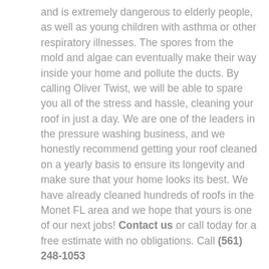and is extremely dangerous to elderly people, as well as young children with asthma or other respiratory illnesses. The spores from the mold and algae can eventually make their way inside your home and pollute the ducts. By calling Oliver Twist, we will be able to spare you all of the stress and hassle, cleaning your roof in just a day. We are one of the leaders in the pressure washing business, and we honestly recommend getting your roof cleaned on a yearly basis to ensure its longevity and make sure that your home looks its best. We have already cleaned hundreds of roofs in the Monet FL area and we hope that yours is one of our next jobs! Contact us or call today for a free estimate with no obligations. Call (561) 248-1053